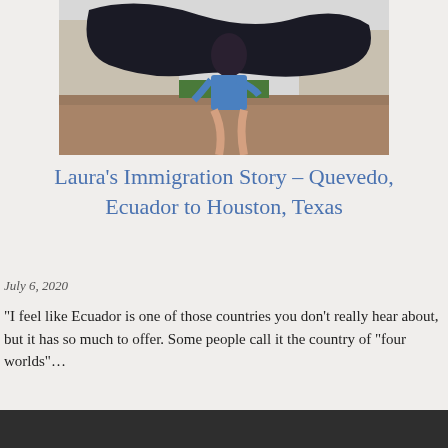[Figure (photo): A young woman with long dark hair sitting on a granite pedestal in front of a large dark bronze bull statue, wearing denim overalls. Trees and a building are visible in the background.]
Laura’s Immigration Story – Quevedo, Ecuador to Houston, Texas
July 6, 2020
“I feel like Ecuador is one of those countries you don’t really hear about, but it has so much to offer. Some people call it the country of “four worlds”…